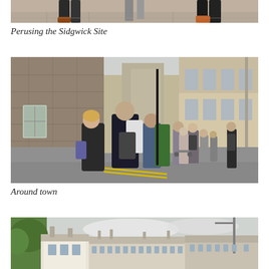[Figure (photo): Partial view of people's feet and legs walking on a paved surface, cropped at top of page]
Perusing the Sidgwick Site
[Figure (photo): Group of people walking away from camera down a narrow historic Cambridge street flanked by old stone buildings on the left and classical university buildings on the right]
Around town
[Figure (photo): Aerial or elevated view of Cambridge town rooftops with buildings and green trees, partially visible at bottom of page]